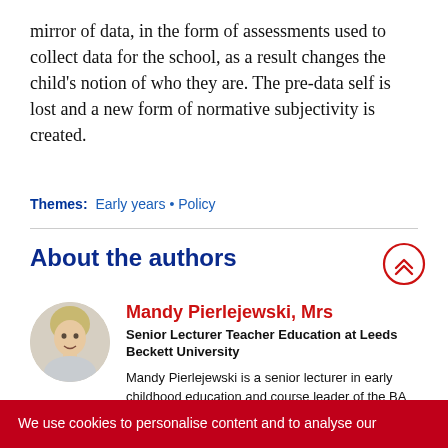mirror of data, in the form of assessments used to collect data for the school, as a result changes the child's notion of who they are. The pre-data self is lost and a new form of normative subjectivity is created.
Themes: Early years • Policy
About the authors
Mandy Pierlejewski, Mrs
Senior Lecturer Teacher Education at Leeds Beckett University
Mandy Pierlejewski is a senior lecturer in early childhood education and course leader of the BA Primary Education 3-7 QTS degree at Leeds Beckett University. Before entering higher
We use cookies to personalise content and to analyse our traffic. We also share information about your use of our site